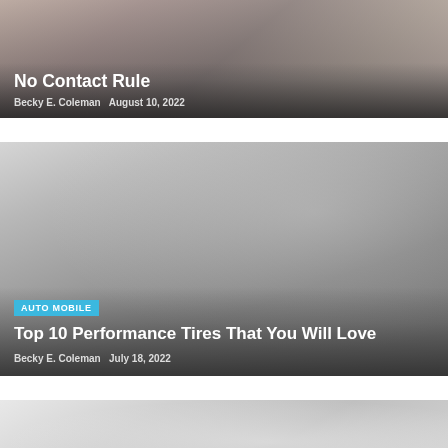[Figure (photo): Partial article card showing a hand at a laptop, dark overlay at bottom with article title 'No Contact Rule' and author/date metadata]
No Contact Rule
Becky E. Coleman    August 10, 2022
[Figure (photo): Article card with gray gradient background, AUTO MOBILE category badge, article title 'Top 10 Performance Tires That You Will Love', and author/date metadata]
AUTO MOBILE
Top 10 Performance Tires That You Will Love
Becky E. Coleman    July 18, 2022
[Figure (photo): Partial bottom article card with light gray gradient background, content cropped]